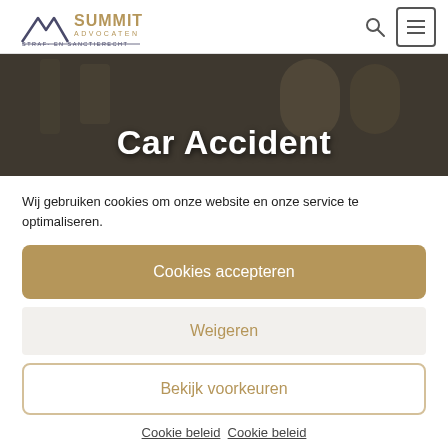Summit Advocaten – Straf- en Sanctierecht
[Figure (screenshot): Hero background image of an interior space (church-like building with stained glass windows), darkened/overlaid. Text 'Car Accident' displayed in bold white over the image.]
Car Accident
Wij gebruiken cookies om onze website en onze service te optimaliseren.
Cookies accepteren
Weigeren
Bekijk voorkeuren
Cookie beleid  Cookie beleid